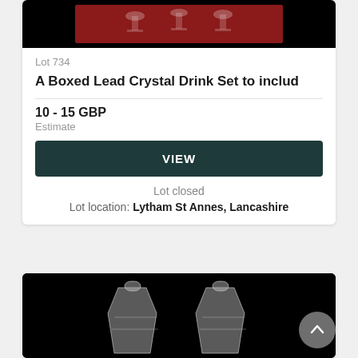[Figure (photo): Photo of a boxed lead crystal drink set in a red box against a black background]
Lot 734
A Boxed Lead Crystal Drink Set to includ
10 - 15 GBP
Estimate
VIEW
Lot closed
Lot location: Lytham St Annes, Lancashire
[Figure (photo): Photo of two crystal candleholder figurines against a black background]